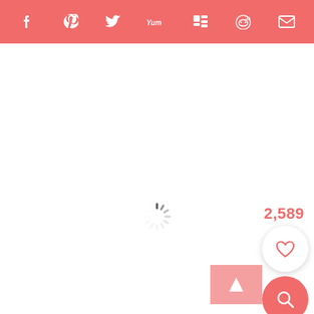Social share bar with icons: Facebook, Pinterest, Twitter, Yummly, Mantle, Reddit, Email
[Figure (screenshot): Loading spinner centered in white content area]
2,589
[Figure (other): White circular heart/like button]
[Figure (other): Coral/red circular search button]
[Figure (other): Pink thumbnail image placeholder with arrow icon]